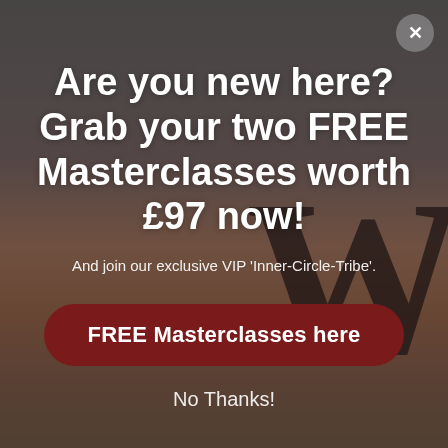[Figure (photo): Dark moody background with warm sunset tones — orange and brown sky with silhouetted tree branches, overlaid with a semi-transparent dark grey overlay. A large bold 'W' letter visible in the lower right.]
Are you new here? Grab your two FREE Masterclasses worth £97 now!
And join our exclusive VIP 'Inner-Circle-Tribe'.
FREE Masterclasses here
No Thanks!